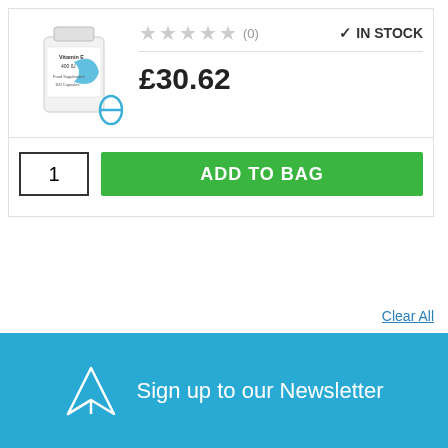[Figure (illustration): Vitamin E 400 IU supplement bottle with blue swoosh logo, partially cropped, with a blue theta symbol below it]
★★★★★ (0)
✓ IN STOCK
£30.62
1
ADD TO BAG
Clear All
Sign up to our Newsletter